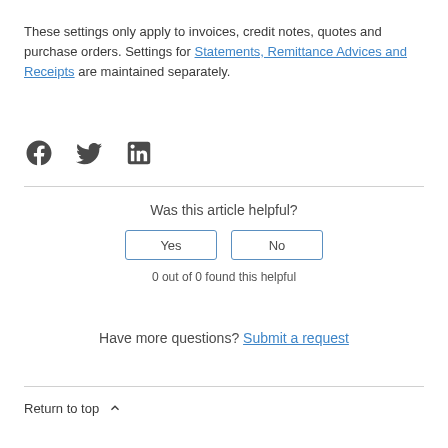These settings only apply to invoices, credit notes, quotes and purchase orders. Settings for Statements, Remittance Advices and Receipts are maintained separately.
[Figure (infographic): Three social media icons: Facebook, Twitter, LinkedIn]
Was this article helpful?
Yes | No buttons
0 out of 0 found this helpful
Have more questions? Submit a request
Return to top